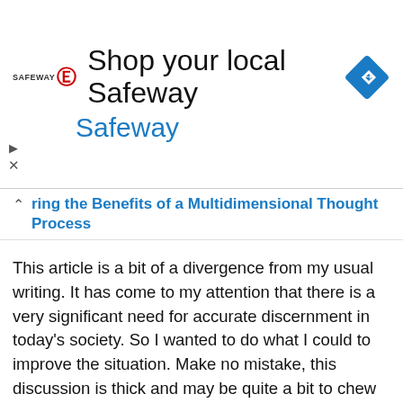[Figure (infographic): Safeway advertisement banner with logo, text 'Shop your local Safeway', 'Safeway' subtitle in blue, and a blue diamond navigation icon]
ring the Benefits of a Multidimensional Thought Process
This article is a bit of a divergence from my usual writing. It has come to my attention that there is a very significant need for accurate discernment in today's society. So I wanted to do what I could to improve the situation. Make no mistake, this discussion is thick and may be quite a bit to chew on for many of us (including myself). However, for everyone who is up to the challenge of introspection and self-exploration, this will be a beneficial endeavor.